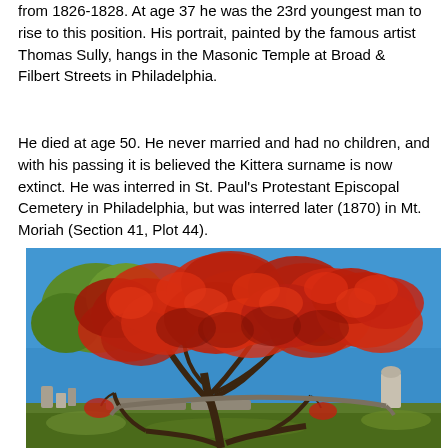from 1826-1828. At age 37 he was the 23rd youngest man to rise to this position. His portrait, painted by the famous artist Thomas Sully, hangs in the Masonic Temple at Broad & Filbert Streets in Philadelphia.
He died at age 50. He never married and had no children, and with his passing it is believed the Kittera surname is now extinct. He was interred in St. Paul's Protestant Episcopal Cemetery in Philadelphia, but was interred later (1870) in Mt. Moriah (Section 41, Plot 44).
[Figure (photo): A large, wide-spreading Japanese maple tree with vivid red foliage photographed against a bright blue sky in a cemetery setting. Gravestones and monuments are visible in the background on green grass.]